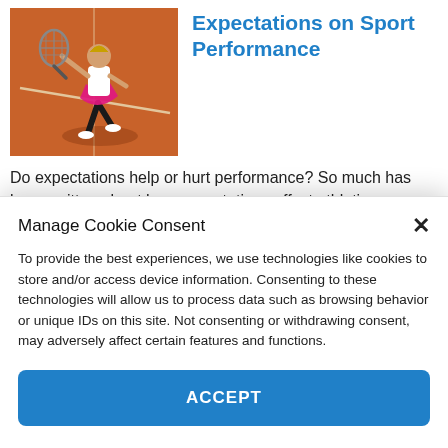[Figure (photo): A female tennis player in a pink skirt hitting a ball on a clay court, photographed from behind/side, with shadows on the reddish-orange court surface.]
Expectations on Sport Performance
Do expectations help or hurt performance? So much has been written about how expectations affect athletic performance, but there is still some confusion about the impact of expectations. On one side of the argument, athletes
Manage Cookie Consent
To provide the best experiences, we use technologies like cookies to store and/or access device information. Consenting to these technologies will allow us to process data such as browsing behavior or unique IDs on this site. Not consenting or withdrawing consent, may adversely affect certain features and functions.
ACCEPT